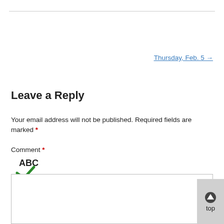Thursday, Feb. 5 →
Leave a Reply
Your email address will not be published. Required fields are marked *
Comment *
[Figure (illustration): Spellcheck icon showing 'ABC' text with a green checkmark below it]
Comment text area (empty input box)